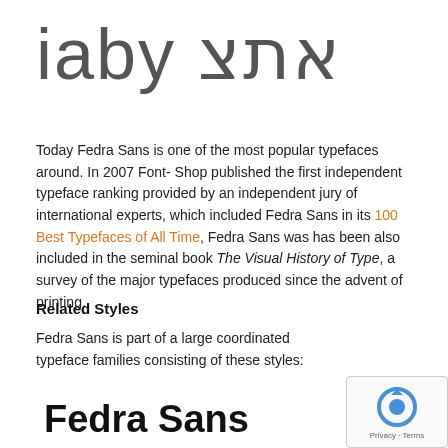[Figure (illustration): Large display text showing Hebrew characters 'אתצ' and Latin characters 'iaby' in a thin/light weight sans-serif typeface]
Today Fedra Sans is one of the most popular typefaces around. In 2007 Font- Shop published the first independent typeface ranking provided by an independent jury of international experts, which included Fedra Sans in its 100 Best Typefaces of All Time, Fedra Sans was has been also included in the seminal book The Visual History of Type, a survey of the major typefaces produced since the advent of printing.
Related Styles
Fedra Sans is part of a large coordinated typeface families consisting of these styles:
Fedra Sans